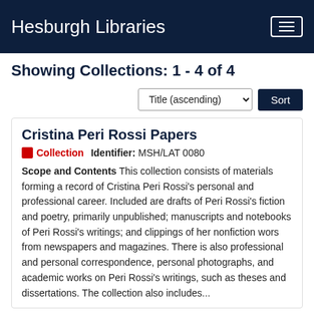Hesburgh Libraries
Showing Collections: 1 - 4 of 4
Title (ascending) Sort
Cristina Peri Rossi Papers
Collection   Identifier: MSH/LAT 0080
Scope and Contents This collection consists of materials forming a record of Cristina Peri Rossi's personal and professional career. Included are drafts of Peri Rossi's fiction and poetry, primarily unpublished; manuscripts and notebooks of Peri Rossi's writings; and clippings of her nonfiction wors from newspapers and magazines. There is also professional and personal correspondence, personal photographs, and academic works on Peri Rossi's writings, such as theses and dissertations. The collection also includes...